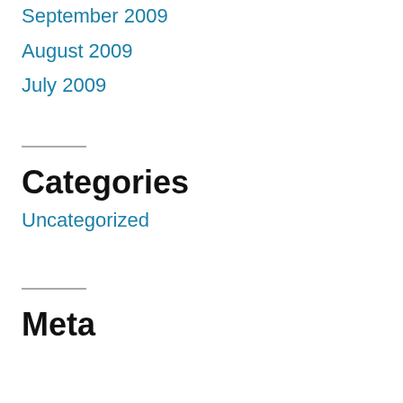September 2009
August 2009
July 2009
Categories
Uncategorized
Meta